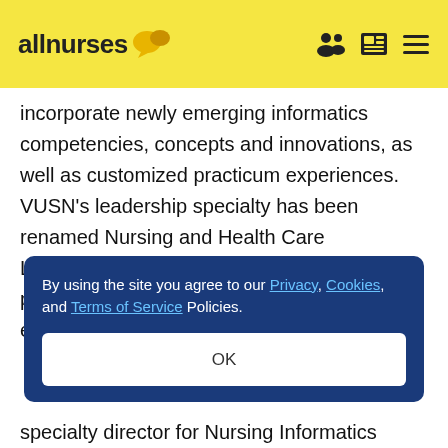allnurses
incorporate newly emerging informatics competencies, concepts and innovations, as well as customized practicum experiences. VUSN's leadership specialty has been renamed Nursing and Health Care Leadership based on feedback from nursing professionals; it incorporates stronger experiential learning, new collaborations with
By using the site you agree to our Privacy, Cookies, and Terms of Service Policies. OK
specialty director for Nursing Informatics